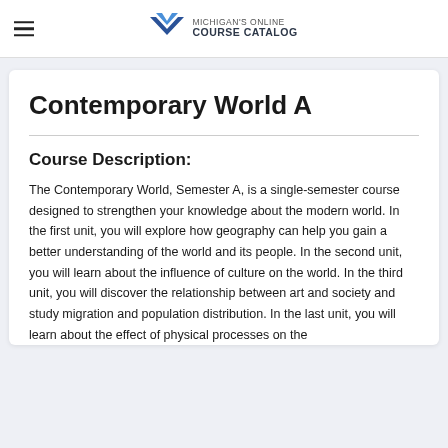MICHIGAN'S ONLINE COURSE CATALOG
Contemporary World A
Course Description:
The Contemporary World, Semester A, is a single-semester course designed to strengthen your knowledge about the modern world. In the first unit, you will explore how geography can help you gain a better understanding of the world and its people. In the second unit, you will learn about the influence of culture on the world. In the third unit, you will discover the relationship between art and society and study migration and population distribution. In the last unit, you will learn about the effect of physical processes on the